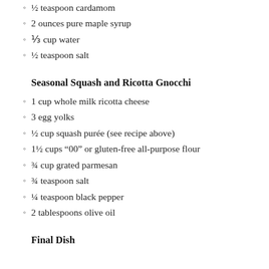½ teaspoon cardamom
2 ounces pure maple syrup
⅓ cup water
½ teaspoon salt
Seasonal Squash and Ricotta Gnocchi
1 cup whole milk ricotta cheese
3 egg yolks
½ cup squash purée (see recipe above)
1½ cups “00” or gluten-free all-purpose flour
¾ cup grated parmesan
¾ teaspoon salt
¼ teaspoon black pepper
2 tablespoons olive oil
Final Dish